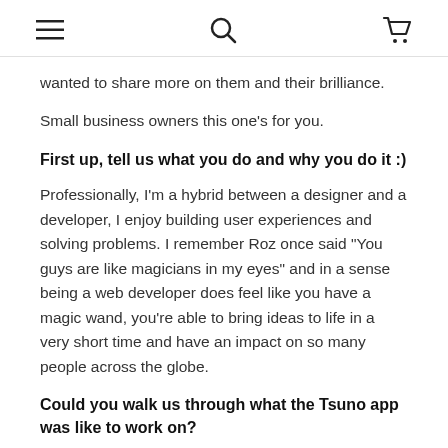[hamburger menu icon] [search icon] [cart icon]
wanted to share more on them and their brilliance.
Small business owners this one's for you.
First up, tell us what you do and why you do it :)
Professionally, I'm a hybrid between a designer and a developer, I enjoy building user experiences and solving problems. I remember Roz once said "You guys are like magicians in my eyes" and in a sense being a web developer does feel like you have a magic wand, you're able to bring ideas to life in a very short time and have an impact on so many people across the globe.
Could you walk us through what the Tsuno app was like to work on?
The idea for Roz...